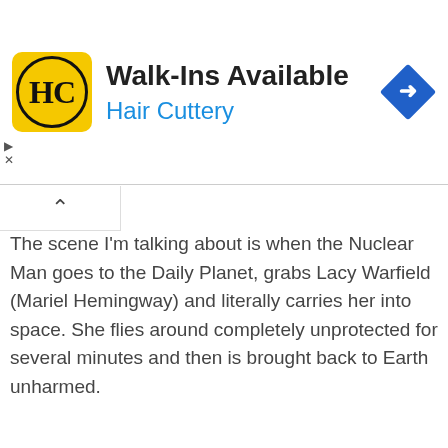[Figure (screenshot): Hair Cuttery advertisement banner with yellow logo square showing HC in circle, text 'Walk-Ins Available' and 'Hair Cuttery' in blue, and a blue diamond navigation icon on the right]
The scene I'm talking about is when the Nuclear Man goes to the Daily Planet, grabs Lacy Warfield (Mariel Hemingway) and literally carries her into space. She flies around completely unprotected for several minutes and then is brought back to Earth unharmed.